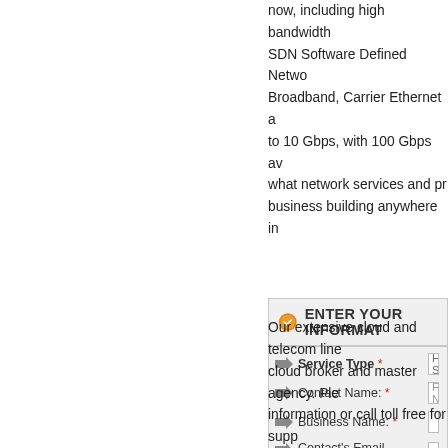now, including high bandwidth SDN Software Defined Networking, Broadband, Carrier Ethernet and up to 10 Gbps, with 100 Gbps available, what network services and products for your business building anywhere in
ENTER YOUR INFORMAT
Service Type *  High Spe
Contact Name: *  First Nam
Business Name: *
Contact's Email Address: *
Installation Phone Number (area code first): *
Our extensive cloud and telecom line as cloud broker and master agency. Please information or call toll free for support